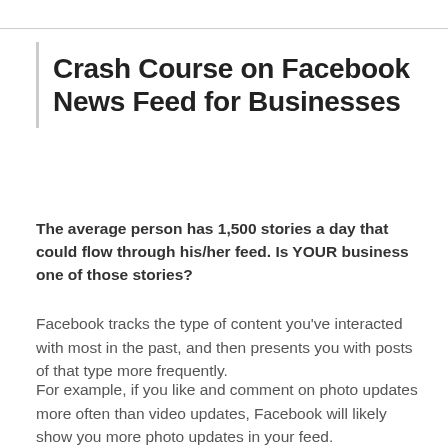Crash Course on Facebook News Feed for Businesses
The average person has 1,500 stories a day that could flow through his/her feed. Is YOUR business one of those stories?
Facebook tracks the type of content you've interacted with most in the past, and then presents you with posts of that type more frequently.
For example, if you like and comment on photo updates more often than video updates, Facebook will likely show you more photo updates in your feed.